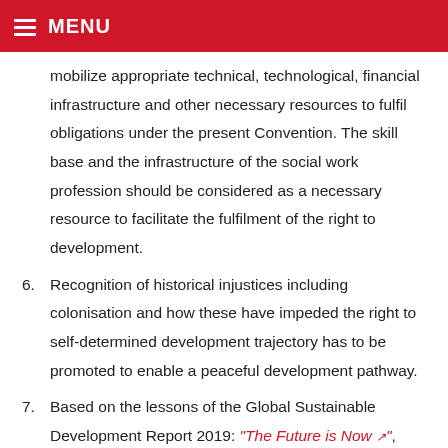MENU
mobilize appropriate technical, technological, financial infrastructure and other necessary resources to fulfil obligations under the present Convention. The skill base and the infrastructure of the social work profession should be considered as a necessary resource to facilitate the fulfilment of the right to development.
6. Recognition of historical injustices including colonisation and how these have impeded the right to self-determined development trajectory has to be promoted to enable a peaceful development pathway.
7. Based on the lessons of the Global Sustainable Development Report 2019: “The Future is Now”, the right to development will be achieved with...